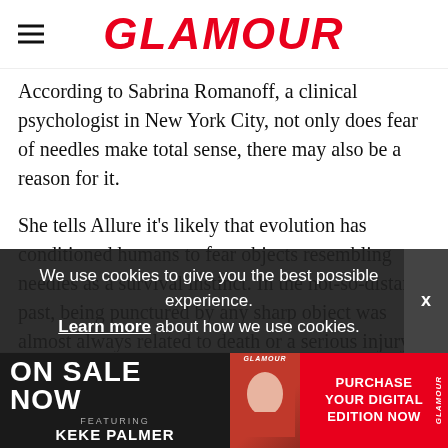GLAMOUR
According to Sabrina Romanoff, a clinical psychologist in New York City, not only does fear of needles make total sense, there may also be a reason for it.
She tells Allure it's likely that evolution has conditioned humans to fear objects resembling needles as a survival instinct. In the not-so-distant past, being punctured by any sharp object was almost always related to death or a serious injury.
Of course, modern medicine has given punctures a purpose. "The irony of this instinct is that needles today are involved in the protection of the immune system and the prevention
Tips f
Once y
[Figure (screenshot): Cookie consent banner: 'We use cookies to give you the best possible experience. Learn more about how we use cookies.' with an X close button]
[Figure (advertisement): Glamour magazine ad: ON SALE NOW featuring KEKE PALMER, with magazine cover image and PURCHASE YOUR DIGITAL EDITION NOW button]